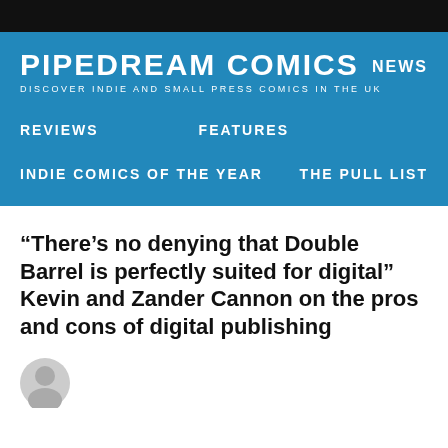PIPEDREAM COMICS — DISCOVER INDIE AND SMALL PRESS COMICS IN THE UK | NEWS | REVIEWS | FEATURES | INDIE COMICS OF THE YEAR | THE PULL LIST
“There’s no denying that Double Barrel is perfectly suited for digital” Kevin and Zander Cannon on the pros and cons of digital publishing